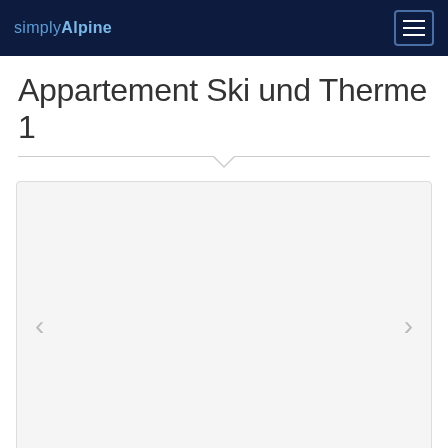simplyAlpine
Appartement Ski und Therme 1
[Figure (photo): Image slider/carousel placeholder with left and right navigation arrows on a light grey background, contained within a rounded border box]